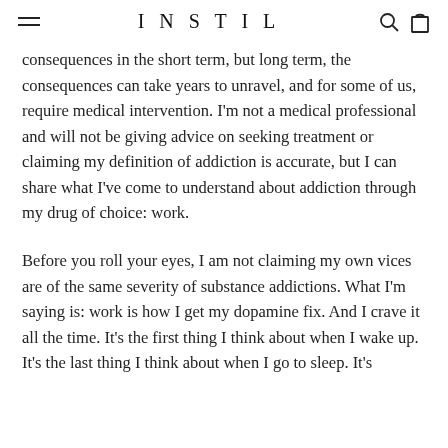INSTIL
consequences in the short term, but long term, the consequences can take years to unravel, and for some of us, require medical intervention. I'm not a medical professional and will not be giving advice on seeking treatment or claiming my definition of addiction is accurate, but I can share what I've come to understand about addiction through my drug of choice: work.
Before you roll your eyes, I am not claiming my own vices are of the same severity of substance addictions. What I'm saying is: work is how I get my dopamine fix. And I crave it all the time. It's the first thing I think about when I wake up. It's the last thing I think about when I go to sleep. It's